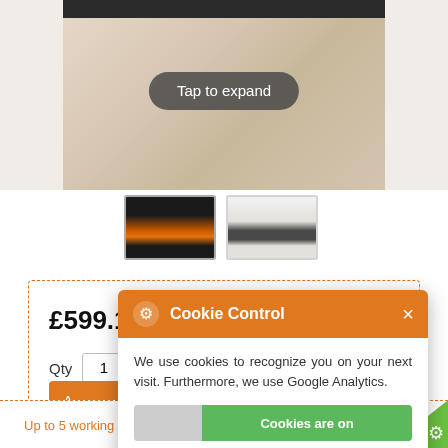[Figure (photo): Top portion of a product page showing a wall-mounted electric fireplace image with a 'Tap to expand' button overlay, and two thumbnail images below it.]
£599.17 (EX VAT)
Qty 1
[Figure (screenshot): Cookie Control popup overlay with orange header containing gear icon and 'Cookie Control' text with X close button, message 'We use cookies to recognize you on your next visit. Furthermore, we use Google Analytics.', a toggle showing 'Cookies are on' in green, and 'about this tool' and 'read More' links.]
Up to 5 working day shipping.